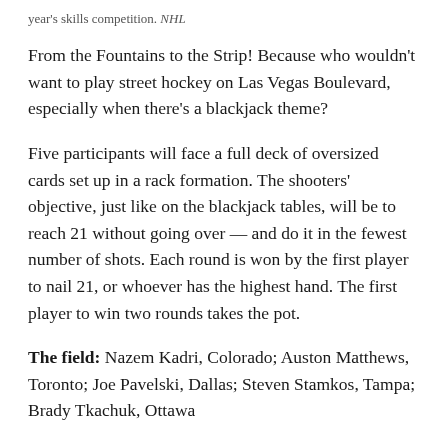year's skills competition. NHL
From the Fountains to the Strip! Because who wouldn't want to play street hockey on Las Vegas Boulevard, especially when there's a blackjack theme?
Five participants will face a full deck of oversized cards set up in a rack formation. The shooters' objective, just like on the blackjack tables, will be to reach 21 without going over — and do it in the fewest number of shots. Each round is won by the first player to nail 21, or whoever has the highest hand. The first player to win two rounds takes the pot.
The field: Nazem Kadri, Colorado; Auston Matthews, Toronto; Joe Pavelski, Dallas; Steven Stamkos, Tampa; Brady Tkachuk, Ottawa
The favorite: Count on Kadri and Matthews to have the